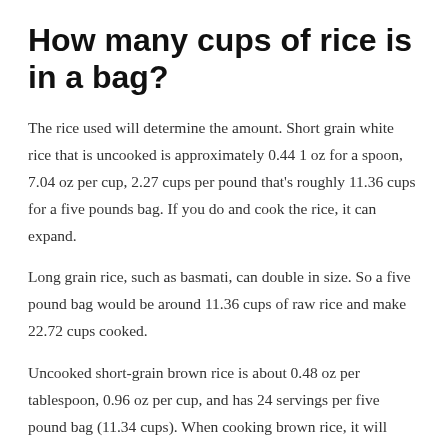How many cups of rice is in a bag?
The rice used will determine the amount. Short grain white rice that is uncooked is approximately 0.44 1 oz for a spoon, 7.04 oz per cup, 2.27 cups per pound that's roughly 11.36 cups for a five pounds bag. If you do and cook the rice, it can expand.
Long grain rice, such as basmati, can double in size. So a five pound bag would be around 11.36 cups of raw rice and make 22.72 cups cooked.
Uncooked short-grain brown rice is about 0.48 oz per tablespoon, 0.96 oz per cup, and has 24 servings per five pound bag (11.34 cups). When cooking brown rice, it will expand to three times its original size or more depending on how much water you use. So a five pound bag of brown rice will yield approximately 33-34 cups cooked rice.